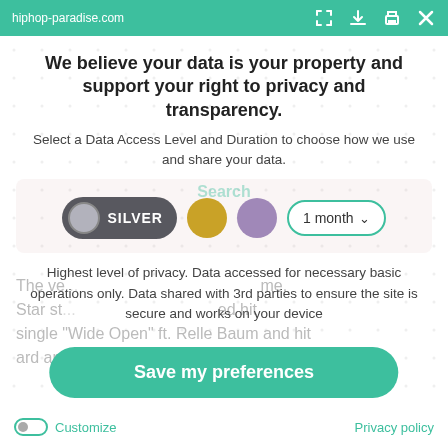hiphop-paradise.com
We believe your data is your property and support your right to privacy and transparency.
Select a Data Access Level and Duration to choose how we use and share your data.
[Figure (infographic): Data access level selector showing Silver toggle pill (selected/active), a gold circle option, a purple circle option, and a '1 month' duration dropdown with teal border.]
Highest level of privacy. Data accessed for necessary basic operations only. Data shared with 3rd parties to ensure the site is secure and works on your device
Save my preferences
Customize   Privacy policy